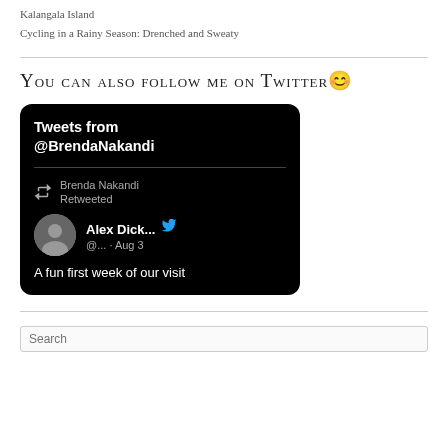Kalangala Island
Cycling in a Rainy Season: Drenched and Sweaty
You can also follow me on Twitter 😊
[Figure (screenshot): A Twitter widget showing 'Tweets from @BrendaNakandi'. Inside, Brenda Nakandi Retweeted a tweet by Alex Dick... (@... · Aug 3) saying 'A fun first week of our visit']
Search